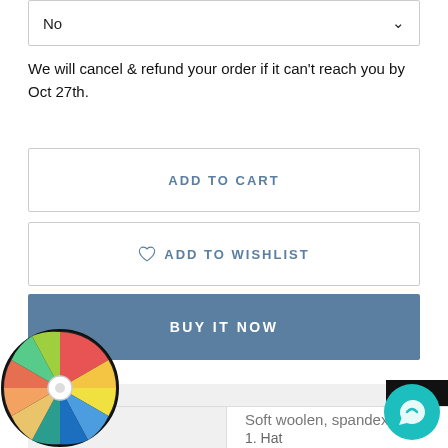No
We will cancel & refund your order if it can't reach you by Oct 27th.
ADD TO CART
ADD TO WISHLIST
BUY IT NOW
Description
|  |  |
| --- | --- |
| terial | Soft woolen, spandex |
|  | 1. Hat |
[Figure (other): Colorful spinner wheel overlay in bottom-left corner]
[Figure (other): Teal chat bubble icon in bottom-right corner]